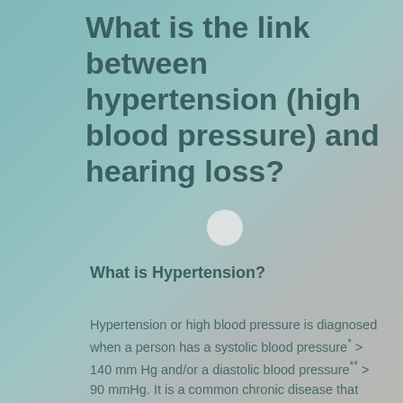What is the link between hypertension (high blood pressure) and hearing loss?
What is Hypertension?
Hypertension or high blood pressure is diagnosed when a person has a systolic blood pressure* > 140 mm Hg and/or a diastolic blood pressure** > 90 mmHg. It is a common chronic disease that affects 1 in 4 Singaporeans between the ages of 30 and 69 years old.